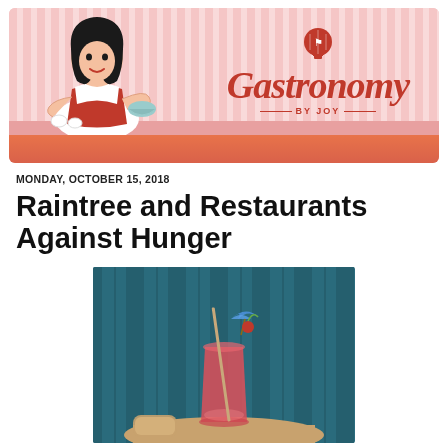[Figure (illustration): Gastronomy by Joy blog header banner with illustrated cartoon character of a woman cooking, pink striped background, hot air balloon logo icon, and decorative cursive 'Gastronomy BY JOY' text in red]
MONDAY, OCTOBER 15, 2018
Raintree and Restaurants Against Hunger
[Figure (photo): A pink/red cocktail drink in a tall glass garnished with a blue paper umbrella and a maraschino cherry on a stick, sitting on a round wooden table with teal booth seating in the background]